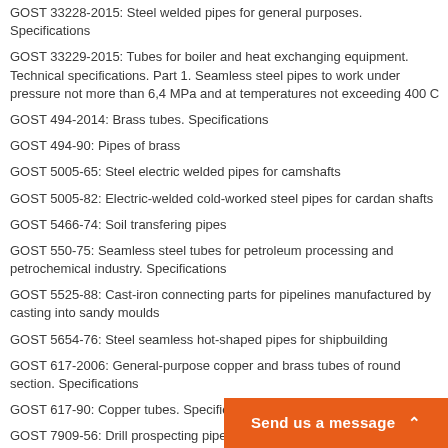GOST 33228-2015: Steel welded pipes for general purposes. Specifications
GOST 33229-2015: Tubes for boiler and heat exchanging equipment. Technical specifications. Part 1. Seamless steel pipes to work under pressure not more than 6,4 MPa and at temperatures not exceeding 400 C
GOST 494-2014: Brass tubes. Specifications
GOST 494-90: Pipes of brass
GOST 5005-65: Steel electric welded pipes for camshafts
GOST 5005-82: Electric-welded cold-worked steel pipes for cardan shafts
GOST 5466-74: Soil transfering pipes
GOST 550-75: Seamless steel tubes for petroleum processing and petrochemical industry. Specifications
GOST 5525-88: Cast-iron connecting parts for pipelines manufactured by casting into sandy moulds
GOST 5654-76: Steel seamless hot-shaped pipes for shipbuilding
GOST 617-2006: General-purpose copper and brass tubes of round section. Specifications
GOST 617-90: Copper tubes. Specifications
GOST 7909-56: Drill prospecting pipes and coupling to them
GOST 8696-74: General-purpose electrically welded spiral seam steel pipes. Specifications
GOST 8731-74: Seamless hot-deformed steel pipes. Specifications
GOST 8733-74: Cold-formed and heat-... requirements